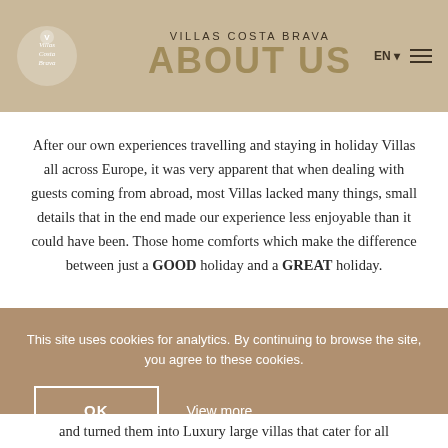VILLAS COSTA BRAVA
ABOUT US
After our own experiences travelling and staying in holiday Villas all across Europe, it was very apparent that when dealing with guests coming from abroad, most Villas lacked many things, small details that in the end made our experience less enjoyable than it could have been. Those home comforts which make the difference between just a GOOD holiday and a GREAT holiday.
This site uses cookies for analytics. By continuing to browse the site, you agree to these cookies.
OK
View more
and turned them into Luxury large villas that cater for all